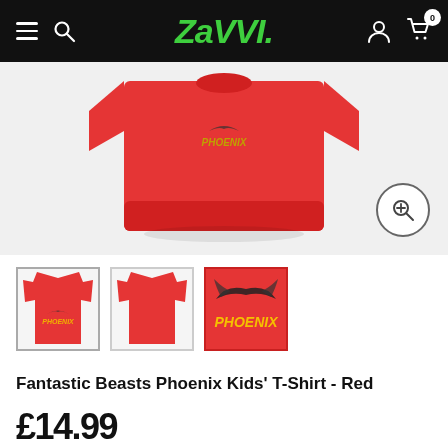Zavvi
[Figure (photo): Main product photo of a red kids' t-shirt folded flat, shown on white/grey background with a zoom magnifier button in bottom right corner.]
[Figure (photo): Three thumbnail images of the Fantastic Beasts Phoenix Kids' T-Shirt in Red: first shows front with Phoenix graphic, second shows plain back, third shows close-up of Phoenix graphic with text.]
Fantastic Beasts Phoenix Kids' T-Shirt - Red
£14.99